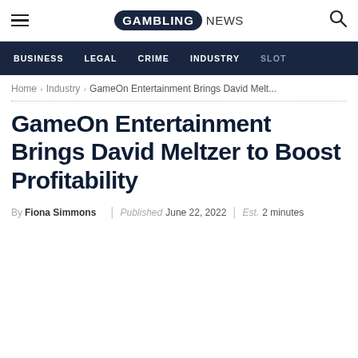GAMBLING NEWS
BUSINESS | LEGAL | CRIME | INDUSTRY | SLOT
Home > Industry > GameOn Entertainment Brings David Melt...
GameOn Entertainment Brings David Meltzer to Boost Profitability
By Fiona Simmons | Published June 22, 2022 | Est. 2 minutes